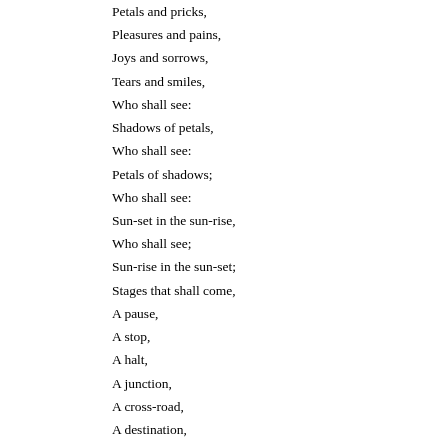Petals and pricks,
Pleasures and pains,
Joys and sorrows,
Tears and smiles,
Who shall see:
Shadows of petals,
Who shall see:
Petals of shadows;
Who shall see:
Sun-set in the sun-rise,
Who shall see;
Sun-rise in the sun-set;
Stages that shall come,
A pause,
A stop,
A halt,
A junction,
A cross-road,
A destination,
The end of a beginning,
The beginning of an end!
From:  Atul Chandra Sarkar
Copyright ©:  atul chandra sarkar